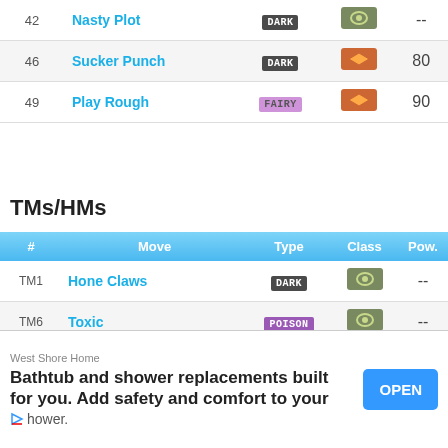| # | Move | Type | Class | Pow. |
| --- | --- | --- | --- | --- |
| 42 | Nasty Plot | DARK | status | -- |
| 46 | Sucker Punch | DARK | physical | 80 |
| 49 | Play Rough | FAIRY | physical | 90 |
TMs/HMs
| # | Move | Type | Class | Pow. |
| --- | --- | --- | --- | --- |
| TM1 | Hone Claws | DARK | status | -- |
| TM6 | Toxic | POISON | status | -- |
| TM10 | Hidden Power | NORMAL | special | 1 |
| TM11 | Sunny Day | FIRE | status | -- |
| TM12 | Taunt | DARK | status | -- |
| TM17 | Protect | NORMAL | status | -- |
| TM18 | Rain Dance | WATER | status | -- |
West Shore Home
Bathtub and shower replacements built for you. Add safety and comfort to your shower.